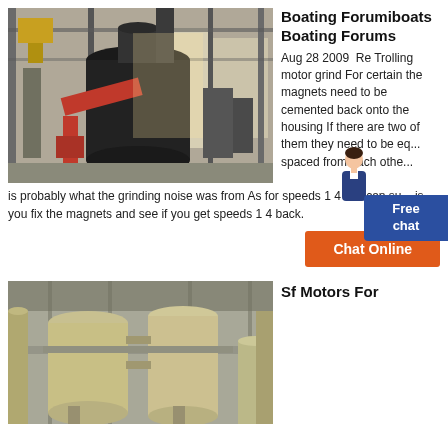[Figure (photo): Industrial grinding mill machine with red and black mechanical parts inside a large factory building]
Boating Forumiboats Boating Forums
Aug 28 2009  Re Trolling motor grind For certain the magnets need to be cemented back onto the housing If there are two of them they need to be eq... spaced from each othe...
is probably what the grinding noise was from As for speeds 1 4 all I can su... is you fix the magnets and see if you get speeds 1 4 back.
Chat Online
[Figure (photo): Large yellow industrial tanks and equipment inside a factory or processing plant]
Sf Motors For